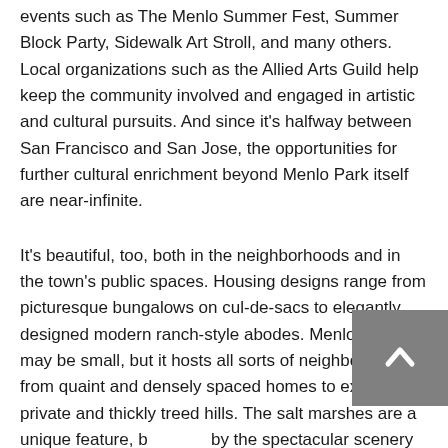events such as The Menlo Summer Fest, Summer Block Party, Sidewalk Art Stroll, and many others. Local organizations such as the Allied Arts Guild help keep the community involved and engaged in artistic and cultural pursuits. And since it's halfway between San Francisco and San Jose, the opportunities for further cultural enrichment beyond Menlo Park itself are near-infinite.
It's beautiful, too, both in the neighborhoods and in the town's public spaces. Housing designs range from picturesque bungalows on cul-de-sacs to elegantly designed modern ranch-style abodes. Menlo Park may be small, but it hosts all sorts of neighborhoods, from quaint and densely spaced homes to extremely private and thickly treed hills. The salt marshes are a unique feature, b… by the spectacular scenery of Bedwell Bayfront Park and bordered by miles and miles of Bay Trail. The wild, open…